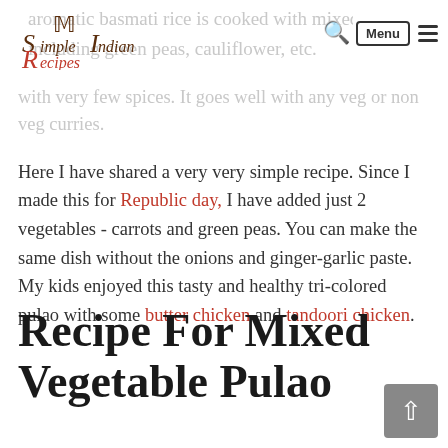Simple Indian Recipes — aromatic basmati rice is cooked with mixed vegetables including green peas, cauliflower, etc. with very few spices. It goes well with any veg or non veg curries.
with very few spices. It goes well with any veg or non veg curries.
Here I have shared a very very simple recipe. Since I made this for Republic day, I have added just 2 vegetables - carrots and green peas. You can make the same dish without the onions and ginger-garlic paste. My kids enjoyed this tasty and healthy tri-colored pulao with some butter chicken and tandoori chicken.
Recipe For Mixed Vegetable Pulao